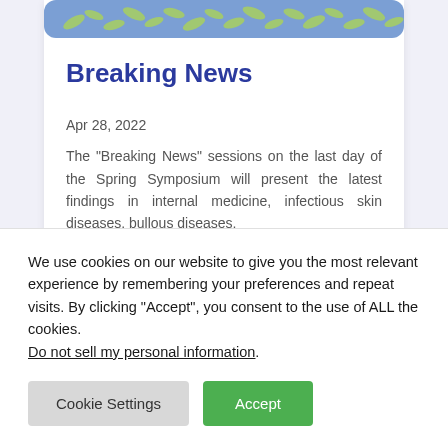[Figure (illustration): Blue banner with decorative green leaf/branch pattern at the top of the article card]
Breaking News
Apr 28, 2022
The "Breaking News" sessions on the last day of the Spring Symposium will present the latest findings in internal medicine, infectious skin diseases, bullous diseases,
We use cookies on our website to give you the most relevant experience by remembering your preferences and repeat visits. By clicking “Accept”, you consent to the use of ALL the cookies. Do not sell my personal information.
Cookie Settings
Accept